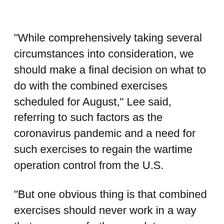"While comprehensively taking several circumstances into consideration, we should make a final decision on what to do with the combined exercises scheduled for August," Lee said, referring to such factors as the coronavirus pandemic and a need for such exercises to regain the wartime operation control from the U.S.
"But one obvious thing is that combined exercises should never work in a way that causes or further escalates tensions on the Korean Peninsula," he said. "Our government should carry out a policy coordination process with maximum flexibility, and I also hope North Korea will show flexibility."